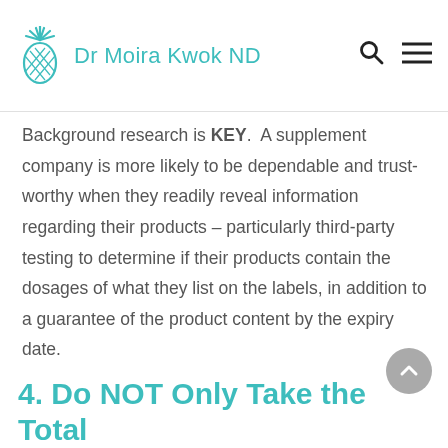Dr Moira Kwok ND
Background research is KEY.  A supplement company is more likely to be dependable and trust-worthy when they readily reveal information regarding their products – particularly third-party testing to determine if their products contain the dosages of what they list on the labels, in addition to a guarantee of the product content by the expiry date.
4. Do NOT Only Take the Total